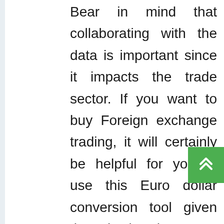Bear in mind that collaborating with the data is important since it impacts the trade sector. If you want to buy Foreign exchange trading, it will certainly be helpful for you to use this Euro dollar conversion tool given that it is the most hardworking aide that you can get to succeed in the trade. Just leave the device working and also you will get the forecasts that you need and perform your professions at the highest rate of revenue returns. When looking for